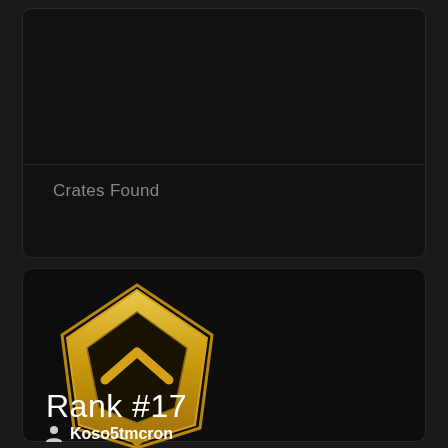Crates Found
[Figure (illustration): Gold rank badge/emblem with a pentagon shape and chevron symbol in the center, dark background with gold gradient border]
Rank #17
Koso5tmcron